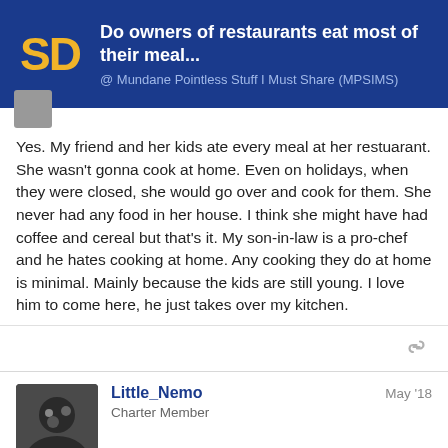Do owners of restaurants eat most of their meal... @ Mundane Pointless Stuff I Must Share (MPSIMS)
Yes. My friend and her kids ate every meal at her restuarant. She wasn't gonna cook at home. Even on holidays, when they were closed, she would go over and cook for them. She never had any food in her house. I think she might have had coffee and cereal but that's it. My son-in-law is a pro-chef and he hates cooking at home. Any cooking they do at home is minimal. Mainly because the kids are still young. I love him to come here, he just takes over my kitchen.
Little_Nemo
Charter Member
May '18
What happens if you own some specific type of restaurant, like a pizzeria for example? Do you just eat pizza for all your meals? Or do you sometimes sneak in some hot d throw them in the oven when the custome